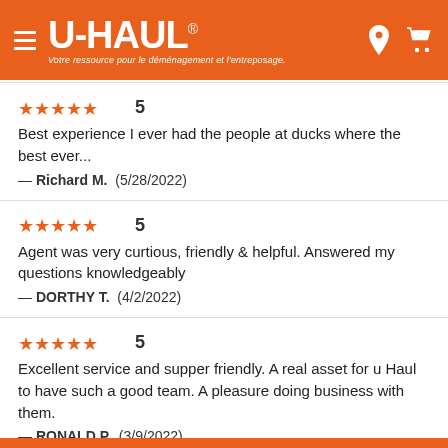U-HAUL® — Votre ressource pour le déménagement et l'entreposage.
★★★★★ 5
Best experience I ever had the people at ducks where the best ever...
— Richard M.  (5/28/2022)
★★★★★ 5
Agent was very curtious, friendly & helpful. Answered my questions knowledgeably
— DORTHY T.  (4/2/2022)
★★★★★ 5
Excellent service and supper friendly. A real asset for u Haul to have such a good team. A pleasure doing business with them.
— RONALD P.  (3/9/2022)